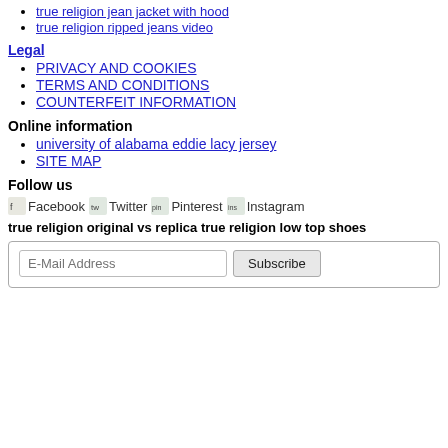true religion jean jacket with hood
true religion ripped jeans video
Legal
PRIVACY AND COOKIES
TERMS AND CONDITIONS
COUNTERFEIT INFORMATION
Online information
university of alabama eddie lacy jersey
SITE MAP
Follow us
[Figure (other): Social media icons: Facebook, Twitter, Pinterest, Instagram]
true religion original vs replica true religion low top shoes
E-Mail Address [input] Subscribe [button]